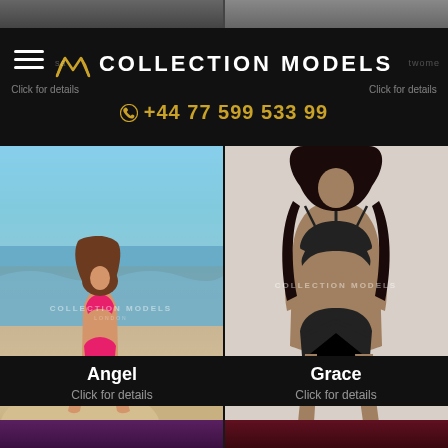[Figure (photo): Top partial strip showing two partially-visible model photos]
COLLECTION MODELS
⊕ +44 77 599 533 99
Click for details (left) | Click for details (right)
[Figure (photo): Model Angel in pink bikini sitting on rocks at beach]
[Figure (photo): Model Grace in black swimsuit against light background]
Angel
Click for details
Grace
Click for details
[Figure (photo): Bottom partial strip showing two more model thumbnails]